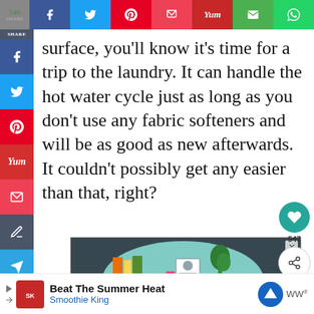Share bar with social media buttons: Facebook (546 shares), Twitter, Pinterest, Pocket, Yummly, Email, WhatsApp
surface, you'll know it's time for a trip to the laundry. It can handle the hot water cycle just as long as you don't use any fabric softeners and will be as good as new afterwards. It couldn't possibly get any easier than that, right?
[Figure (illustration): Illustration of a person working at a desk with a laptop, bookshelves, plants, and colorful decor. 'BE' text visible in the lower right corner.]
[Figure (infographic): What's Next panel: thumbnail image with text 'WHAT'S NEXT → Simple freezer tips to save....']
[Figure (other): Bottom banner advertisement: Beat The Summer Heat - Smoothie King, with play button, Smoothie King logo, navigation arrow logo, and WW logo.]